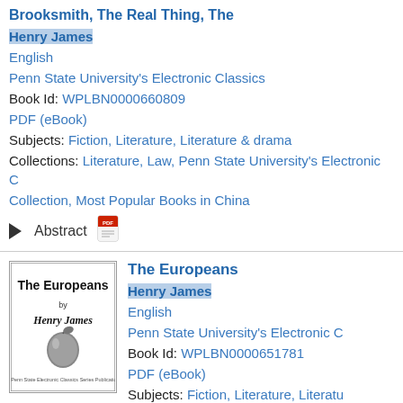Brooksmith, The Real Thing, The
Henry James
English
Penn State University's Electronic Classics
Book Id: WPLBN0000660809
PDF (eBook)
Subjects: Fiction, Literature, Literature & drama
Collections: Literature, Law, Penn State University's Electronic Collection, Most Popular Books in China
Abstract
[Figure (illustration): Book cover of 'The Europeans' by Henry James, Penn State Electronic Classics Series Publication, with an apple illustration]
The Europeans
Henry James
English
Penn State University's Electronic Classics
Book Id: WPLBN0000651781
PDF (eBook)
Subjects: Fiction, Literature, Literature...
Collections: Literature, Penn State University's Electronic...